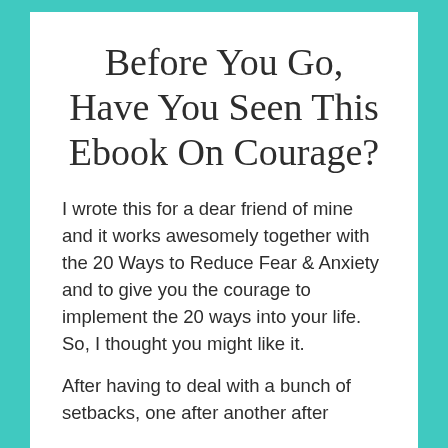Before You Go, Have You Seen This Ebook On Courage?
I wrote this for a dear friend of mine and it works awesomely together with the 20 Ways to Reduce Fear & Anxiety and to give you the courage to implement the 20 ways into your life. So, I thought you might like it.
After having to deal with a bunch of setbacks, one after another after